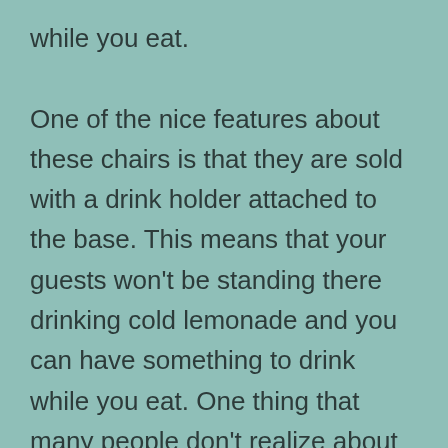while you eat. One of the nice features about these chairs is that they are sold with a drink holder attached to the base. This means that your guests won't be standing there drinking cold lemonade and you can have something to drink while you eat. One thing that many people don't realize about a pregnancy beach chair is that they are much easier to clean than other types of lounge furniture. Because they have less materials in them, they tend to show dirt much more quickly, making it far easier to clean up after you've used them.